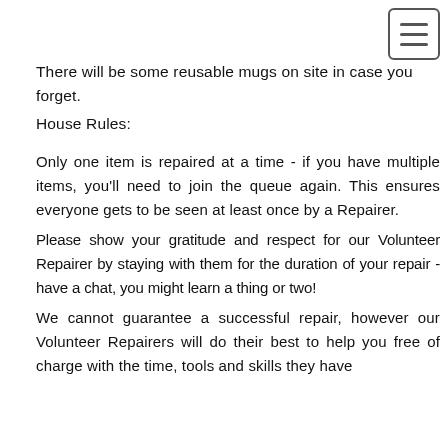There will be some reusable mugs on site in case you forget.
House Rules:
Only one item is repaired at a time - if you have multiple items, you'll need to join the queue again. This ensures everyone gets to be seen at least once by a Repairer.
Please show your gratitude and respect for our Volunteer Repairer by staying with them for the duration of your repair - have a chat, you might learn a thing or two!
We cannot guarantee a successful repair, however our Volunteer Repairers will do their best to help you free of charge with the time, tools and skills they have